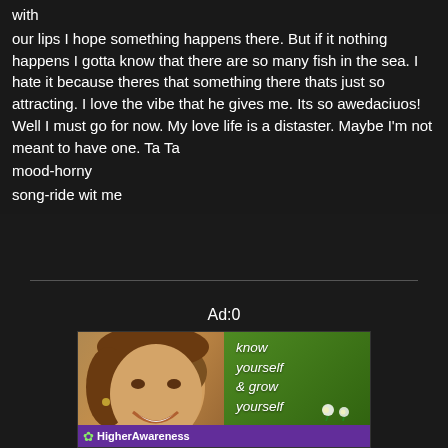with
our lips I hope something happens there. But if it nothing happens I gotta know that there are so many fish in the sea. I hate it because theres that something there thats just so attracting. I love the vibe that he gives me. Its so awedaciuos! Well I must go for now. My love life is a distaster. Maybe I'm not meant to have one. Ta Ta
mood-horny
song-ride wit me
[Figure (other): Advertisement banner for HigherAwareness website showing a smiling woman's face on left side against green background, with italic white text 'know yourself & grow yourself' and purple footer bar with 'HigherAwareness' logo text. Label above reads 'Ad:0'.]